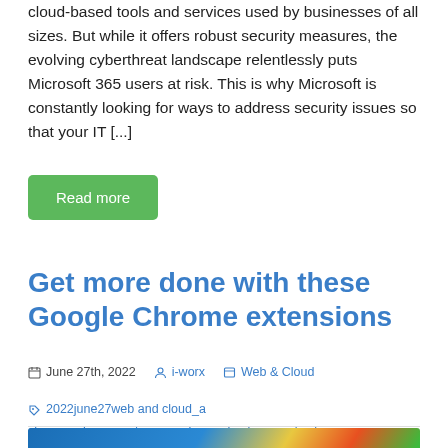cloud-based tools and services used by businesses of all sizes. But while it offers robust security measures, the evolving cyberthreat landscape relentlessly puts Microsoft 365 users at risk. This is why Microsoft is constantly looking for ways to address security issues so that your IT [...]
Read more
Get more done with these Google Chrome extensions
June 27th, 2022  i-worx  Web & Cloud  2022june27web and cloud_a, chrome, chrome extension, chrome hacks, google chrome
[Figure (photo): Thumbnail image showing Google Chrome extension icons on a blue background]